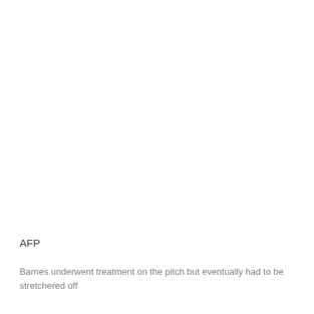[Figure (photo): A photo (mostly white/blank in the visible crop) occupying the upper portion of the page.]
AFP
Barnes underwent treatment on the pitch but eventually had to be stretchered off